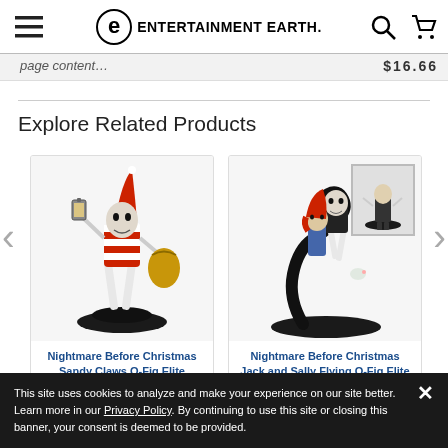Entertainment Earth — navigation bar with hamburger menu, logo, search, and cart icons
Explore Related Products
[Figure (photo): Product card: Nightmare Before Christmas Sandy Claws Q-Fig Elite figurine — Jack Skellington in Santa costume holding a lantern, on a black base]
Nightmare Before Christmas Sandy Claws Q-Fig Elite
[Figure (photo): Product card: Nightmare Before Christmas Jack and Sally Flying Q-Fig Elite figurine — Jack and Sally on a spiral hill with Zero, plus a small thumbnail of a skeleton figure in corner]
Nightmare Before Christmas Jack and Sally Flying Q-Fig Elite
This site uses cookies to analyze and make your experience on our site better. Learn more in our Privacy Policy. By continuing to use this site or closing this banner, your consent is deemed to be provided.